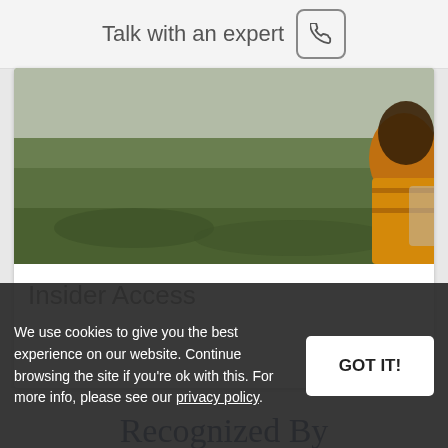Talk with an expert
[Figure (photo): Outdoor photo showing a grassy landscape with a person in a yellow jacket on the right side]
Insider Access
Recognized By
All News
We use cookies to give you the best experience on our website. Continue browsing the site if you’re ok with this. For more info, please see our privacy policy.